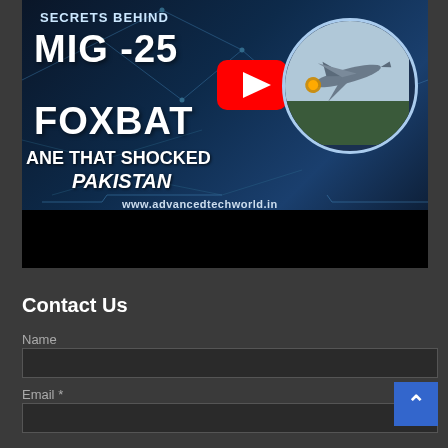[Figure (screenshot): YouTube video thumbnail for 'Secrets Behind MIG-25 Foxbat – The Plane That Shocked Pakistan' from www.advancedtechworld.in. Dark blue background with network lines, white bold text, YouTube play button, and a circular image of a fighter jet.]
Contact Us
Name
Email *